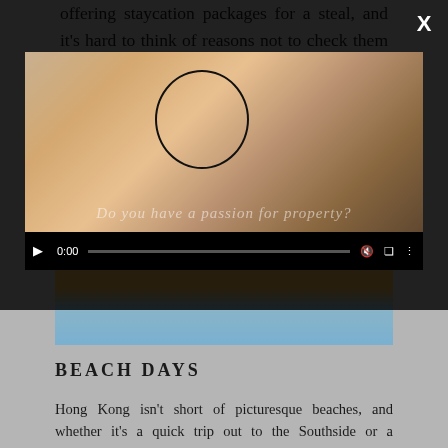offering staycation packages for a steal, and it's hard to think of reasons not to check them out. Think of it as research for future...
[Figure (photo): Beach photo partially visible behind modal overlay — sandy shore and blue water]
BEACH DAYS
Hong Kong isn't short of picturesque beaches, and whether it's a quick trip out to the Southside or a speedboat over to Tai Long Wan, there's something to tick every
[Figure (screenshot): Video player modal overlay showing a woman in a car talking on phone, with video controls showing 0:00 timestamp and watermark text 'Do you have a passion for property?']